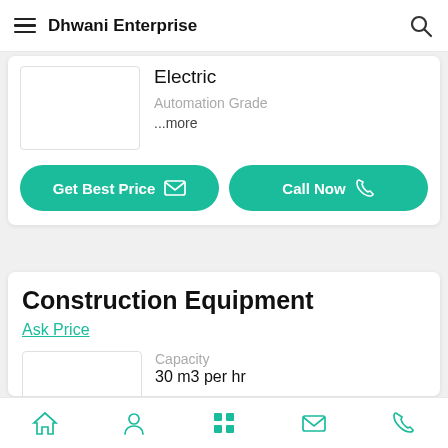Dhwani Enterprise
Electric
Automation Grade
...more
Get Best Price
Call Now
Construction Equipment
Ask Price
Capacity
30 m3 per hr
Brand
Dhwani